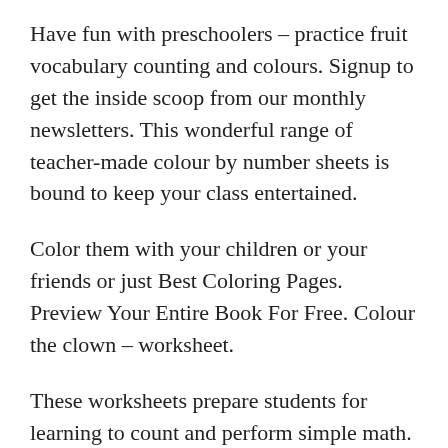Have fun with preschoolers – practice fruit vocabulary counting and colours. Signup to get the inside scoop from our monthly newsletters. This wonderful range of teacher-made colour by number sheets is bound to keep your class entertained.
Color them with your children or your friends or just Best Coloring Pages. Preview Your Entire Book For Free. Colour the clown – worksheet.
These worksheets prepare students for learning to count and perform simple math. These